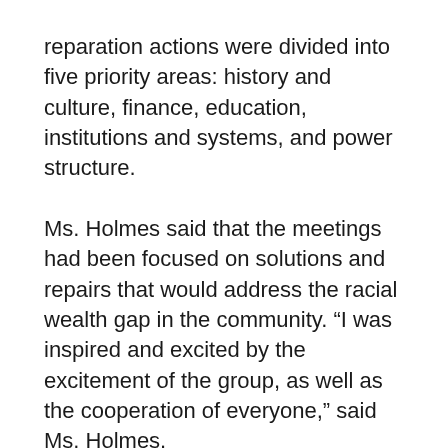reparation actions were divided into five priority areas: history and culture, finance, education, institutions and systems, and power structure.
Ms. Holmes said that the meetings had been focused on solutions and repairs that would address the racial wealth gap in the community. “I was inspired and excited by the excitement of the group, as well as the cooperation of everyone,” said Ms. Holmes.
Commission Chair Jane Grover, also a former alderman, added that previous discussions had been framed as a brainstorm – and that